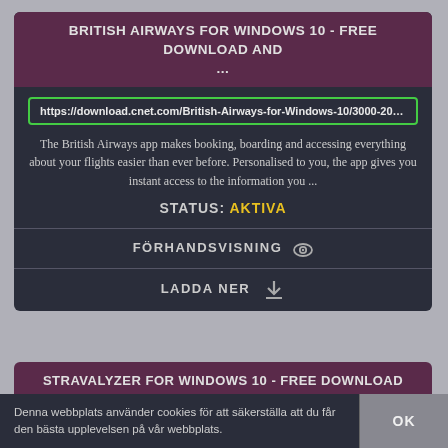BRITISH AIRWAYS FOR WINDOWS 10 - FREE DOWNLOAD AND ...
https://download.cnet.com/British-Airways-for-Windows-10/3000-20428
The British Airways app makes booking, boarding and accessing everything about your flights easier than ever before. Personalised to you, the app gives you instant access to the information you ...
STATUS: AKTIVA
FÖRHANDSVISNING 👁
LADDA NER ⬇
STRAVALYZER FOR WINDOWS 10 - FREE DOWNLOAD AND
Denna webbplats använder cookies för att säkerställa att du får den bästa upplevelsen på vår webbplats.
OK